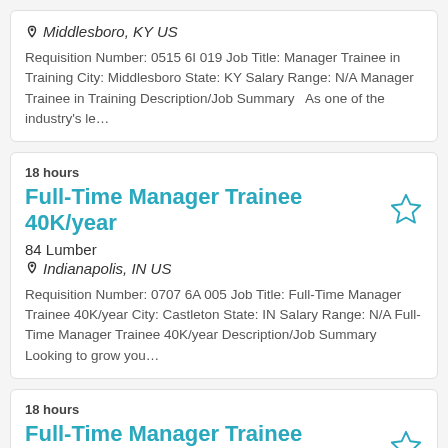Middlesboro, KY US
Requisition Number: 0515 6I 019 Job Title: Manager Trainee in Training City: Middlesboro State: KY Salary Range: N/A Manager Trainee in Training Description/Job Summary   As one of the industry's le...
18 hours
Full-Time Manager Trainee 40K/year
84 Lumber
Indianapolis, IN US
Requisition Number: 0707 6A 005 Job Title: Full-Time Manager Trainee 40K/year City: Castleton State: IN Salary Range: N/A Full-Time Manager Trainee 40K/year Description/Job Summary Looking to grow you...
18 hours
Full-Time Manager Trainee
84 Lumber